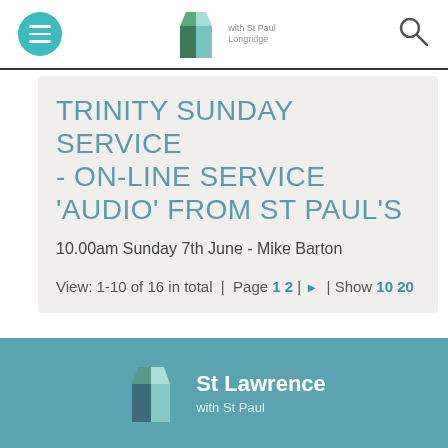with St Paul Longridge
TRINITY SUNDAY SERVICE - ON-LINE SERVICE 'AUDIO' FROM ST PAUL'S
10.00am Sunday 7th June - Mike Barton
View: 1-10 of 16 in total | Page 1 2 | ▶ | Show 10 20
St Lawrence with St Paul